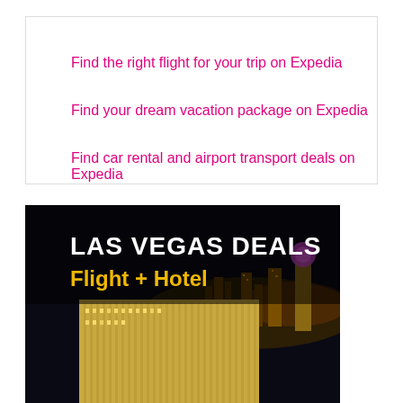Find the right flight for your trip on Expedia
Find your dream vacation package on Expedia
Find car rental and airport transport deals on Expedia
[Figure (photo): Las Vegas night cityscape showing illuminated hotel/casino building (resembling the Bellagio) with city lights in background. Text overlay reads 'LAS VEGAS DEALS' in white and 'Flight + Hotel' in gold/yellow.]